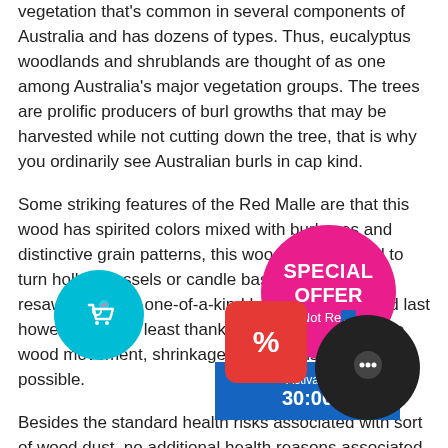vegetation that's common in several components of Australia and has dozens of types. Thus, eucalyptus woodlands and shrublands are thought of as one among Australia's major vegetation groups. The trees are prolific producers of burl growths that may be harvested while not cutting down the tree, that is why you ordinarily see Australian burls in cap kind.
Some striking features of the Red Malle are that this wood has spirited colors mixed with burl eyes and distinctive grain patterns, this wood may be used to turn hollow vessels or candle bases, it may be resawed to form one-of-a-kind bottle stoppers, and last however not the least thanks to the character of the wood movement, shrinkage and expansion are quite possible.
Besides the standard health risks associated with sort of wood dust, no additional health reasons associated with Red mallee, though many species of the Eucalyptus genus are reported to cause varied hypersens...
The term mallee refers to a species' general growth...